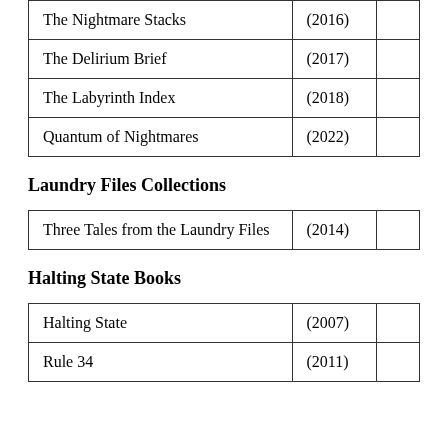| The Nightmare Stacks | (2016) |  |
| The Delirium Brief | (2017) |  |
| The Labyrinth Index | (2018) |  |
| Quantum of Nightmares | (2022) |  |
Laundry Files Collections
| Three Tales from the Laundry Files | (2014) |  |
Halting State Books
| Halting State | (2007) |  |
| Rule 34 | (2011) |  |